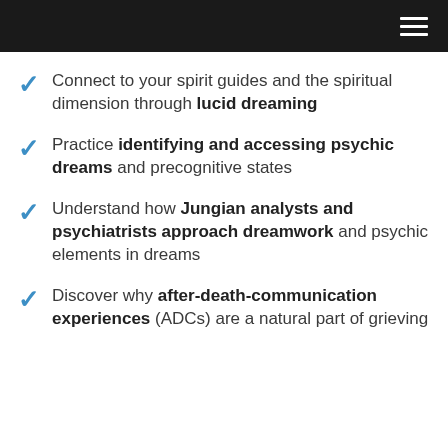Connect to your spirit guides and the spiritual dimension through lucid dreaming
Practice identifying and accessing psychic dreams and precognitive states
Understand how Jungian analysts and psychiatrists approach dreamwork and psychic elements in dreams
Discover why after-death-communication experiences (ADCs) are a natural part of grieving